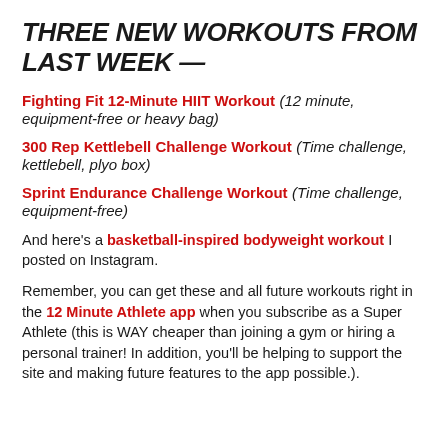THREE NEW WORKOUTS FROM LAST WEEK —
Fighting Fit 12-Minute HIIT Workout (12 minute, equipment-free or heavy bag)
300 Rep Kettlebell Challenge Workout (Time challenge, kettlebell, plyo box)
Sprint Endurance Challenge Workout (Time challenge, equipment-free)
And here's a basketball-inspired bodyweight workout I posted on Instagram.
Remember, you can get these and all future workouts right in the 12 Minute Athlete app when you subscribe as a Super Athlete (this is WAY cheaper than joining a gym or hiring a personal trainer! In addition, you'll be helping to support the site and making future features to the app possible.).